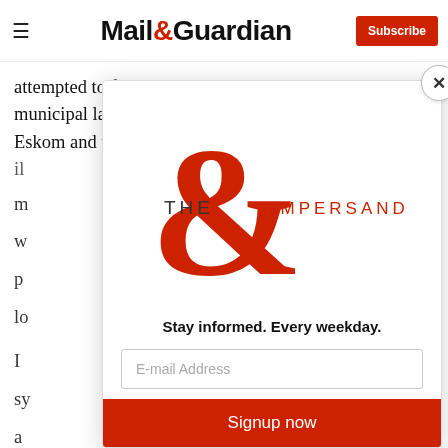Mail&Guardian — Subscribe
attempted to force compliance in managing the municipal landfill site, enforcing a settlement between Eskom and the municipality, fixing sewer leaks and il...
[Figure (logo): The Ampersand newsletter logo with large red ampersand and text 'THE AMPERSAND']
Stay informed. Every weekday.
E-mail Address input field
Signup now button